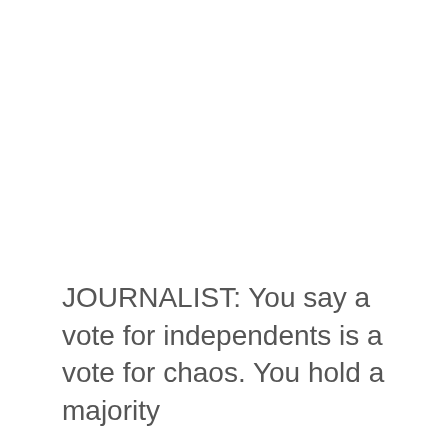JOURNALIST: You say a vote for independents is a vote for chaos. You hold a majority